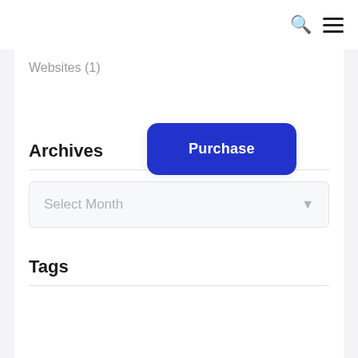🔍 ☰
Websites (1)
Archives
[Figure (other): Blue rounded button labeled 'Purchase']
Select Month
Tags